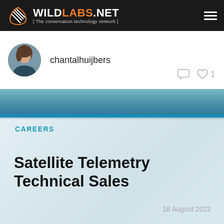WILDLABS.NET [ The conservation technology network ]
[Figure (photo): Circular avatar photo of a woman (chantalhuijbers) with brown hair]
chantalhuijbers
♡ 1
CAREERS
Satellite Telemetry Technical Sales
18 August 2022